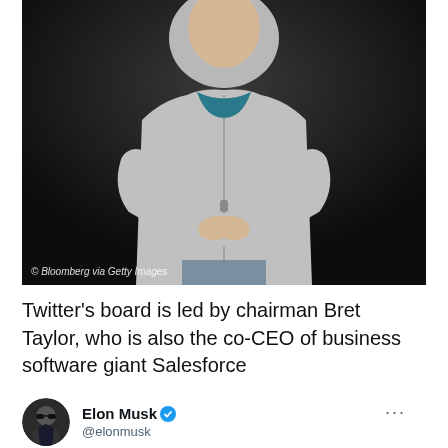[Figure (photo): A man in a gray zip-up hoodie with arms crossed, standing against a dark background. Bloomberg via Getty Images watermark in lower left.]
© Bloomberg via Getty Images
Twitter's board is led by chairman Bret Taylor, who is also the co-CEO of business software giant Salesforce
[Figure (photo): Circular avatar of Elon Musk wearing sunglasses, Twitter profile photo]
Elon Musk @elonmusk